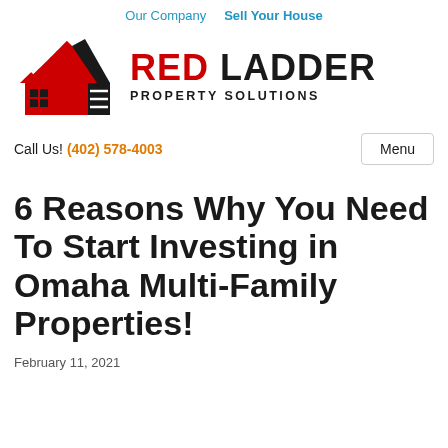Our Company  Sell Your House
[Figure (logo): Red Ladder Property Solutions logo with red and black house/ladder icon and company name]
Call Us! (402) 578-4003
6 Reasons Why You Need To Start Investing in Omaha Multi-Family Properties!
February 11, 2021